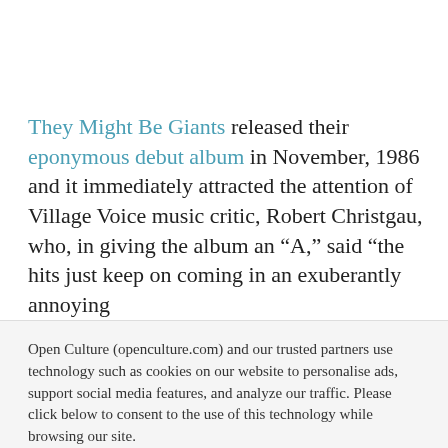They Might Be Giants released their eponymous debut album in November, 1986 and it immediately attracted the attention of Village Voice music critic, Robert Christgau, who, in giving the album an “A,” said “the hits just keep on coming in an exuberantly annoying
Open Culture (openculture.com) and our trusted partners use technology such as cookies on our website to personalise ads, support social media features, and analyze our traffic. Please click below to consent to the use of this technology while browsing our site.
Cookie settings | ACCEPT